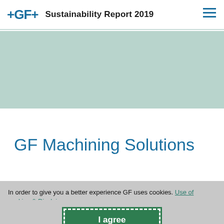+GF+ Sustainability Report 2019
[Figure (photo): A muted sage-green / teal colored banner image area (background photo, content not legible)]
GF Machining Solutions
In order to give you a better experience GF uses cookies. Use of cookies & Disclaimer
I agree